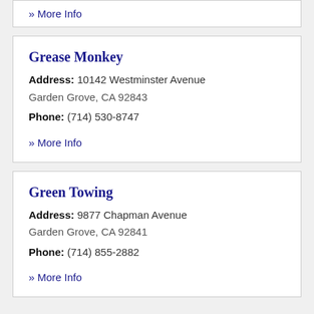» More Info
Grease Monkey
Address: 10142 Westminster Avenue Garden Grove, CA 92843
Phone: (714) 530-8747
» More Info
Green Towing
Address: 9877 Chapman Avenue Garden Grove, CA 92841
Phone: (714) 855-2882
» More Info